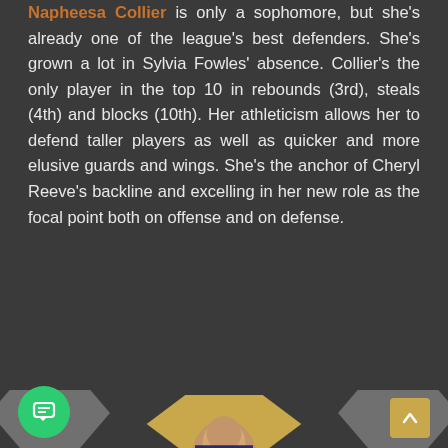Napheesa Collier is only a sophomore, but she's already one of the league's best defenders. She's grown a lot in Sylvia Fowles' absence. Collier's the only player in the top 10 in rebounds (3rd), steals (4th) and blocks (10th). Her athleticism allows her to defend taller players as well as quicker and more elusive guards and wings. She's the anchor of Cheryl Reeve's backline and excelling in her new role as the focal point both on offense and on defense.
| DPOY | NAPHEESA COLLIER |
| --- | --- |
| 15.8 PPG | 9.1 RPG | 1.8 SPG | 1.3 BPG | [team logo] |
[Figure (photo): Player card showing Napheesa Collier stats with photo, DPOY award label, stats (15.8 PPG, 9.1 RPG, 1.8 SPG, 1.3 BPG) and Minnesota Lynx team logo]
[Figure (photo): Bottom section showing a player (likely Napheesa Collier) in a hexagonal gold card, with partial hexagonal cards on the sides, a green chat button, and a gold scroll-to-top button]